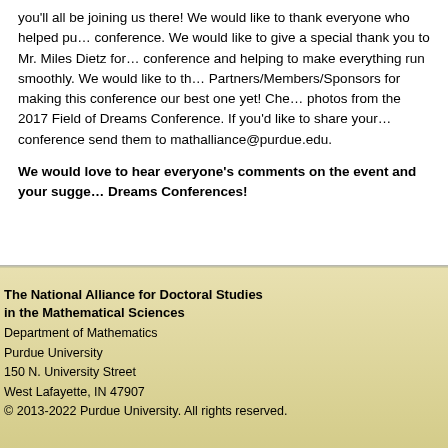you'll all be joining us there! We would like to thank everyone who helped put together the conference. We would like to give a special thank you to Mr. Miles Dietz for organizing the conference and helping to make everything run smoothly. We would like to thank all of our Partners/Members/Sponsors for making this conference our best one yet! Check out photos from the 2017 Field of Dreams Conference. If you'd like to share your photos from the conference send them to mathalliance@purdue.edu.
We would love to hear everyone's comments on the event and your suggestions for future Field of Dreams Conferences!
The National Alliance for Doctoral Studies in the Mathematical Sciences
Department of Mathematics
Purdue University
150 N. University Street
West Lafayette, IN 47907
© 2013-2022 Purdue University. All rights reserved.